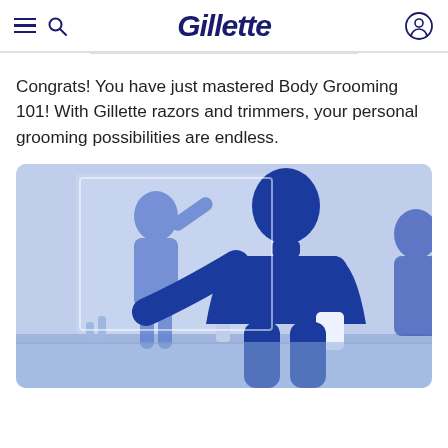Gillette
Congrats! You have just mastered Body Grooming 101! With Gillette razors and trimmers, your personal grooming possibilities are endless.
[Figure (illustration): Stylized blue silhouette illustration of men grooming in a bathroom setting, with one figure flexing and others in background]